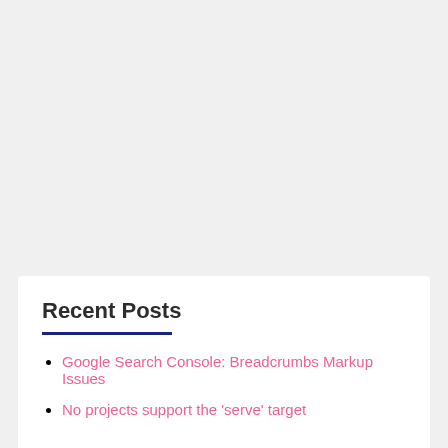Recent Posts
Google Search Console: Breadcrumbs Markup Issues
No projects support the 'serve' target